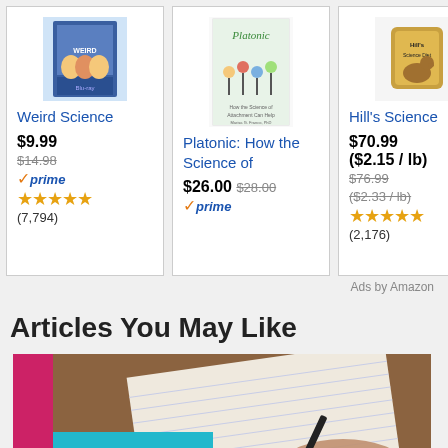[Figure (screenshot): Amazon ad carousel showing 4 product cards: Weird Science ($9.99, was $14.98, Prime, 7,794 reviews), Platonic: How the Science of ($26.00, was $28.00, Prime), Hill's Science ($70.99 / $2.15/lb, was $76.99/$2.33/lb, 2,176 reviews), Cell Fie Fu Science B ($15.99, Prime, partial)]
Ads by Amazon
Articles You May Like
[Figure (photo): Thumbnail image with pink and teal bars on left, text overlay reading MISCONCEPTIONS ABOU... in white bold uppercase, with a hand writing on notebook paper in the background]